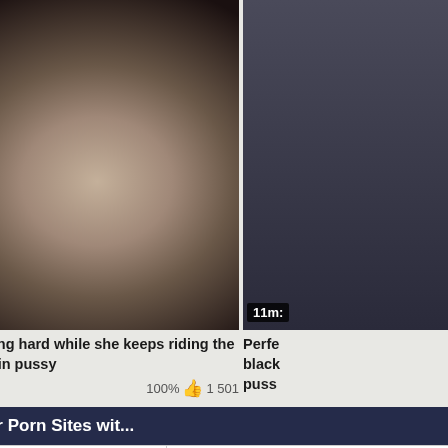[Figure (screenshot): Video thumbnail showing adult content, duration badge '1m:00s' at bottom left. Partial second thumbnail visible on right with '11m:' badge.]
White girl moaning hard while she keeps riding the hard black cock in pussy
2 014 views  100%  👍  1 501
Perfe... black... puss...
Free Amateur Porn Sites wit...
| Stepmom Family Porn | F... |
| German SexFilme |  |
| Mom Tries Anal First Time | B... |
| Girlfriend Anal Videos |  |
| Mature First BBC Sex | Sp... |